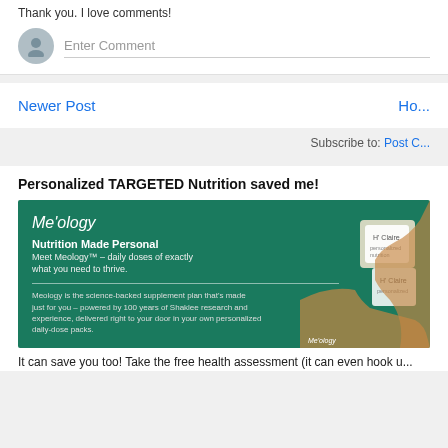Thank you. I love comments!
Enter Comment
Newer Post
Ho...
Subscribe to: Post C...
Personalized TARGETED Nutrition saved me!
[Figure (photo): Meology nutrition product advertisement on green background. Shows hands holding white supplement packets. Text reads: Me'ology, Nutrition Made Personal, Meet Meology - daily doses of exactly what you need to thrive. Meology is the science-backed supplement plan that's made just for you...]
It can save you too! Take the free health assessment (it can even hook u...